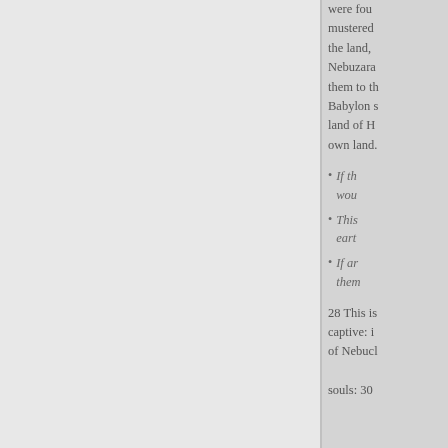were fou mustered the land, Nebuzara them to th Babylon s land of H own land.
If th wou
This eart
If ar them
28 This is captive: i of Nebuch souls: 30